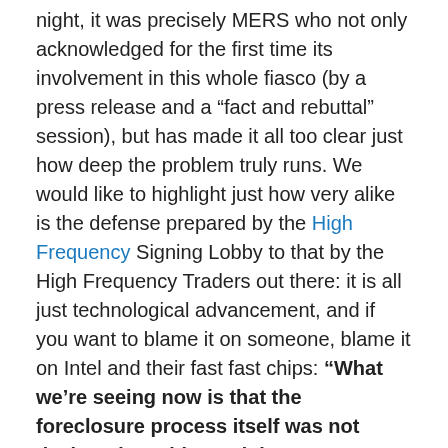night, it was precisely MERS who not only acknowledged for the first time its involvement in this whole fiasco (by a press release and a “fact and rebuttal” session), but has made it all too clear just how deep the problem truly runs. We would like to highlight just how very alike is the defense prepared by the High Frequency Signing Lobby to that by the High Frequency Traders out there: it is all just technological advancement, and if you want to blame it on someone, blame it on Intel and their fast fast chips: “What we’re seeing now is that the foreclosure process itself was not designed to withstand the extraordinary volume of foreclosures that the mortgage industry and local governments must now handle.” Obviously the volume only exploded once failed systems such as MERS appeared on the scene: it is precisely in this aspect that MERS served as an enabling catalyst to let loose the